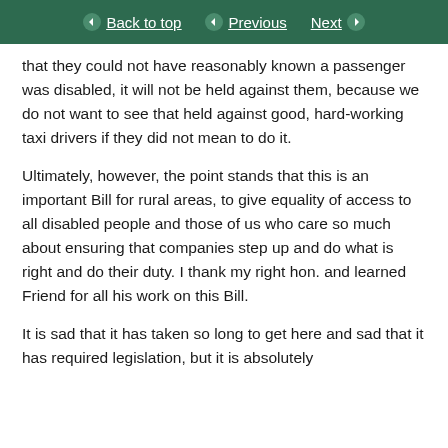Back to top | Previous | Next
that they could not have reasonably known a passenger was disabled, it will not be held against them, because we do not want to see that held against good, hard-working taxi drivers if they did not mean to do it.
Ultimately, however, the point stands that this is an important Bill for rural areas, to give equality of access to all disabled people and those of us who care so much about ensuring that companies step up and do what is right and do their duty. I thank my right hon. and learned Friend for all his work on this Bill.
It is sad that it has taken so long to get here and sad that it has required legislation, but it is absolutely